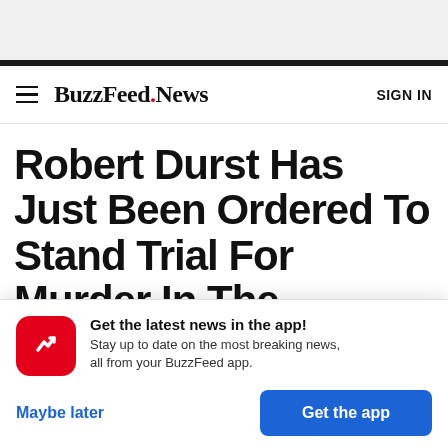BuzzFeed News — SIGN IN
Robert Durst Has Just Been Ordered To Stand Trial For Murder In The Execution-Style Killing
[Figure (other): App download popup with BuzzFeed red icon showing trending arrow, text: Get the latest news in the app! Stay up to date on the most breaking news, all from your BuzzFeed app. Buttons: Maybe later, Get the app]
Get the latest news in the app! Stay up to date on the most breaking news, all from your BuzzFeed app.
Maybe later
Get the app